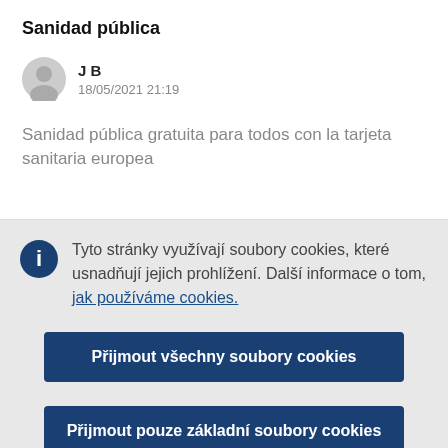Sanidad pública
J B
18/05/2021 21:19
Sanidad pública gratuita para todos con la tarjeta sanitaria europea
Tyto stránky využívají soubory cookies, které usnadňují jejich prohlížení. Další informace o tom, jak používáme cookies.
Přijmout všechny soubory cookies
Přijmout pouze základní soubory cookies